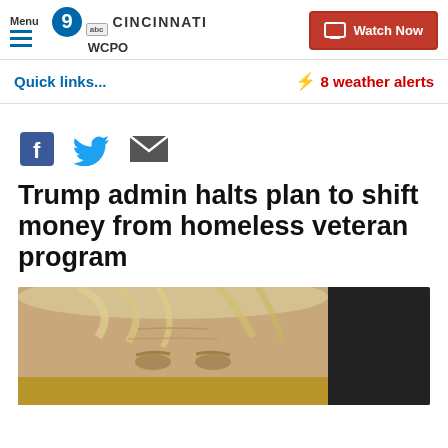Menu | WCPO 9 ABC CINCINNATI | Watch Now
Quick links...
⚡ 8 weather alerts
[Figure (other): Social share icons: Facebook, Twitter, Email]
Trump admin halts plan to shift money from homeless veteran program
[Figure (photo): Photo of Donald Trump, close-up portrait from below, showing face and hair]